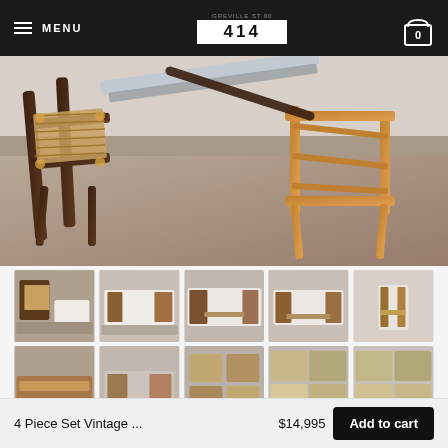MENU | 414 | Cart (0)
[Figure (photo): Large product photo showing vintage bamboo/rattan furniture pieces including chairs and a table frame on a concrete floor with white wall background]
[Figure (photo): Thumbnail row 1: Five thumbnail images of the vintage furniture set from various angles]
[Figure (photo): Thumbnail row 2: Five thumbnail images of individual pieces of the vintage furniture set]
4 Piece Set Vintage ...
$14,995
Add to cart